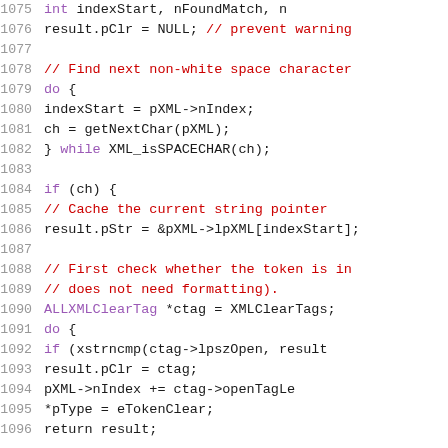[Figure (screenshot): Source code listing in C showing lines 1075-1096, with syntax highlighting: line numbers in gray, keywords in purple, comments in red, identifiers in black.]